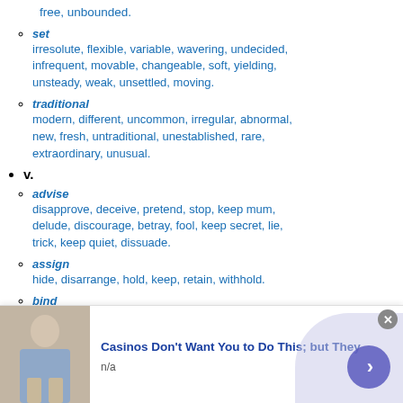free, unbounded.
set
irresolute, flexible, variable, wavering, undecided, infrequent, movable, changeable, soft, yielding, unsteady, weak, unsettled, moving.
traditional
modern, different, uncommon, irregular, abnormal, new, fresh, untraditional, unestablished, rare, extraordinary, unusual.
v.
advise
disapprove, deceive, pretend, stop, keep mum, delude, discourage, betray, fool, keep secret, lie, trick, keep quiet, dissuade.
assign
hide, disarrange, hold, keep, retain, withhold.
bind
loosen, unfasten, unbind, permit, liberate, set free
[Figure (other): Advertisement banner: image of a person on left, text reading 'Casinos Don't Want You to Do This; but They' with 'n/a' below, close button top right, arrow button bottom right.]